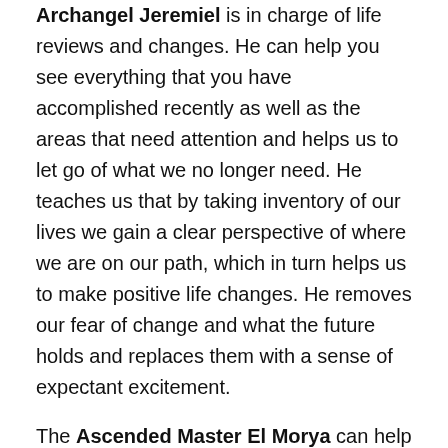Archangel Jeremiel is in charge of life reviews and changes. He can help you see everything that you have accomplished recently as well as the areas that need attention and helps us to let go of what we no longer need. He teaches us that by taking inventory of our lives we gain a clear perspective of where we are on our path, which in turn helps us to make positive life changes. He removes our fear of change and what the future holds and replaces them with a sense of expectant excitement.
The Ascended Master El Morya can help if you have trouble staying present and focused in the now. He teaches us the importance of putting aside what we cannot control so that we are free to think about other things. He reminds us that it is our faith that keeps us